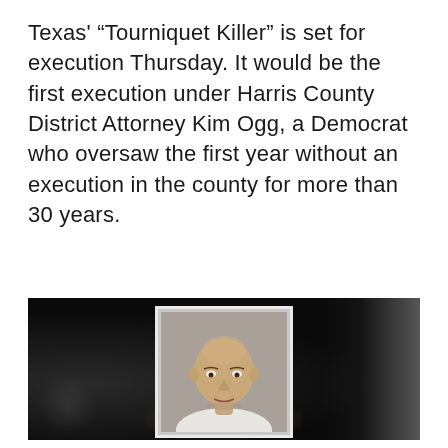Texas' “Tourniquet Killer” is set for execution Thursday. It would be the first execution under Harris County District Attorney Kim Ogg, a Democrat who oversaw the first year without an execution in the county for more than 30 years.
[Figure (photo): A dark blurred background (likely a prison or institutional setting) with a centered inset mugshot of a bald middle-aged man wearing a white shirt, looking directly at the camera. The mugshot is framed with a white/light border against the dark background.]